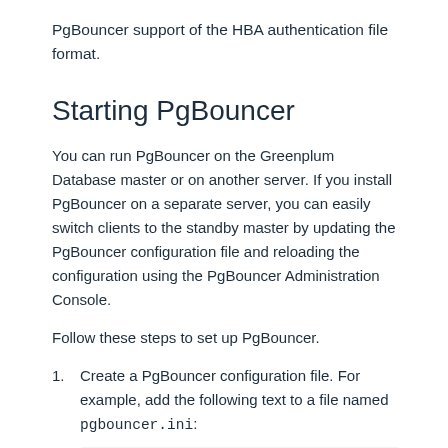PgBouncer support of the HBA authentication file format.
Starting PgBouncer
You can run PgBouncer on the Greenplum Database master or on another server. If you install PgBouncer on a separate server, you can easily switch clients to the standby master by updating the PgBouncer configuration file and reloading the configuration using the PgBouncer Administration Console.
Follow these steps to set up PgBouncer.
Create a PgBouncer configuration file. For example, add the following text to a file named pgbouncer.ini:
[databases]